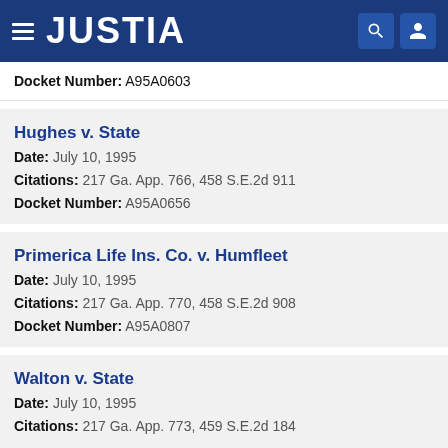JUSTIA
Docket Number: A95A0603
Hughes v. State
Date: July 10, 1995
Citations: 217 Ga. App. 766, 458 S.E.2d 911
Docket Number: A95A0656
Primerica Life Ins. Co. v. Humfleet
Date: July 10, 1995
Citations: 217 Ga. App. 770, 458 S.E.2d 908
Docket Number: A95A0807
Walton v. State
Date: July 10, 1995
Citations: 217 Ga. App. 773, 459 S.E.2d 184